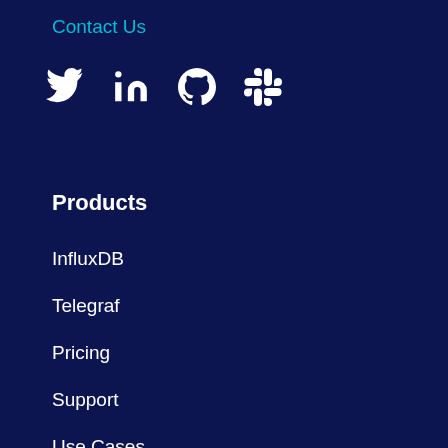Contact Us
[Figure (illustration): Social media icons: Twitter, LinkedIn, GitHub, Slack]
Products
InfluxDB
Telegraf
Pricing
Support
Use Cases
Resources
InfluxDB U
Blog
Community
Customers